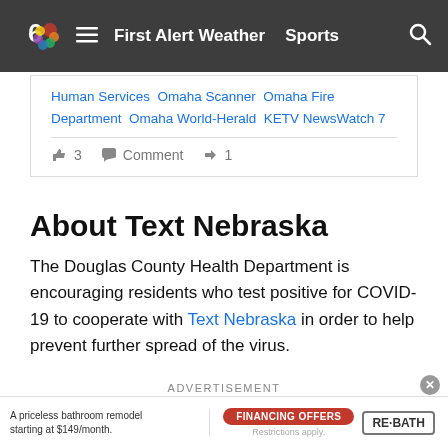First Alert Weather  Sports
Human Services Omaha Scanner Omaha Fire Department Omaha World-Herald KETV NewsWatch 7
👍 3   Comment   ↪ 1
About Text Nebraska
The Douglas County Health Department is encouraging residents who test positive for COVID-19 to cooperate with Text Nebraska in order to help prevent further spread of the virus.
ADVERTISEMENT
[Figure (other): Advertisement banner for re-mod-el Nebraska sunroom specialist with click here button]